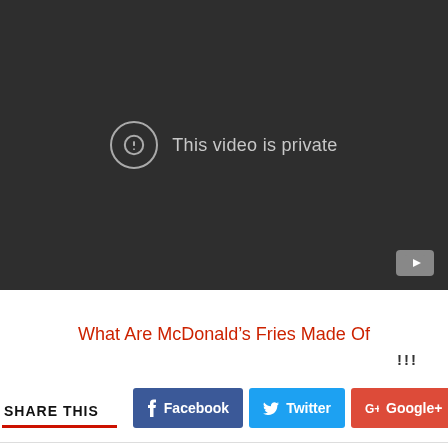[Figure (screenshot): Dark video player showing 'This video is private' message with an exclamation icon and YouTube logo in bottom right corner.]
What Are McDonald's Fries Made Of
!!!
SHARE THIS  Facebook  Twitter  Google+  (Pinterest icon)  (LinkedIn icon)